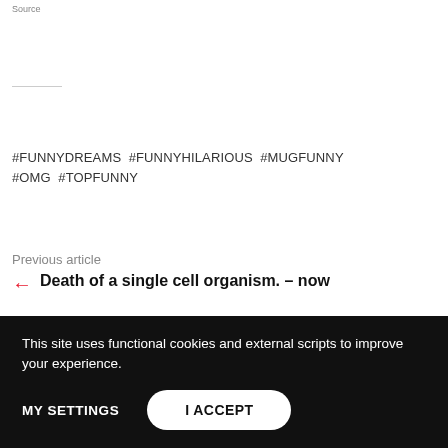Source
#FUNNYDREAMS #FUNNYHILARIOUS #MUGFUNNY #OMG #TOPFUNNY
Previous article
Death of a single cell organism. – now
Next article
Jumping height based on planets and moons of the solar system (note — first one is Earth at 50 cm or 1.5 ft) – original
This site uses functional cookies and external scripts to improve your experience.
MY SETTINGS
I ACCEPT